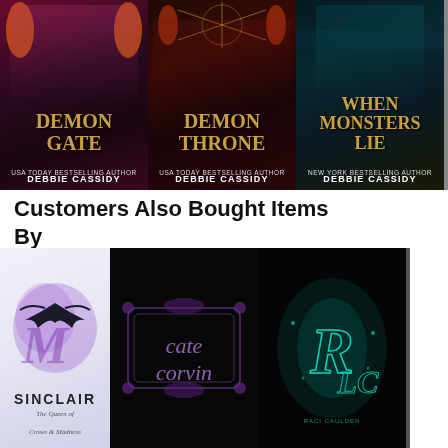[Figure (illustration): Three book covers by Debbie Cassidy: 'Demon Gate', 'Demon Throne', and 'When Monsters Lie', partially cropped on right]
Customers Also Bought Items By
[Figure (illustration): Three author logo/branding covers: Sinclair (The Queen of Crows and Madness), Cate Corvin, and R.L.C (Raci Caulden), partially cropped on right]